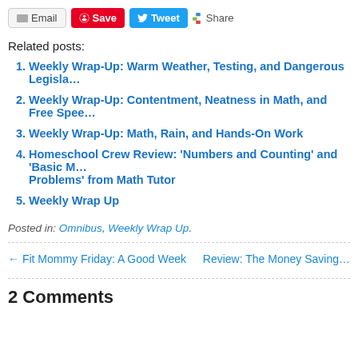[Figure (other): Social sharing toolbar with Email, Save (Pinterest), Tweet (Twitter), and Share buttons]
Related posts:
Weekly Wrap-Up: Warm Weather, Testing, and Dangerous Legisla…
Weekly Wrap-Up: Contentment, Neatness in Math, and Free Spee…
Weekly Wrap-Up: Math, Rain, and Hands-On Work
Homeschool Crew Review: 'Numbers and Counting' and 'Basic M… Problems' from Math Tutor
Weekly Wrap Up
Posted in: Omnibus, Weekly Wrap Up.
← Fit Mommy Friday: A Good Week    Review: The Money Saving…
2 Comments